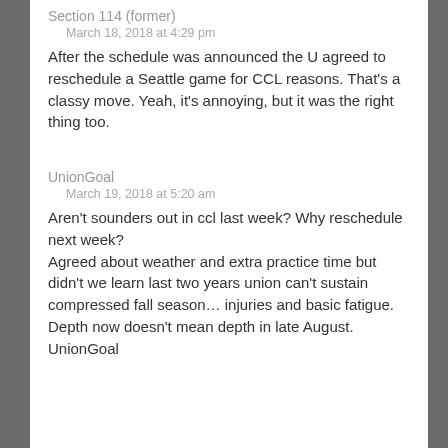Section 114 (former)
March 18, 2018 at 4:29 pm
After the schedule was announced the U agreed to reschedule a Seattle game for CCL reasons. That's a classy move. Yeah, it's annoying, but it was the right thing too.
UnionGoal
March 19, 2018 at 5:20 am
Aren't sounders out in ccl last week? Why reschedule next week?
Agreed about weather and extra practice time but didn't we learn last two years union can't sustain compressed fall season… injuries and basic fatigue. Depth now doesn't mean depth in late August.
UnionGoal